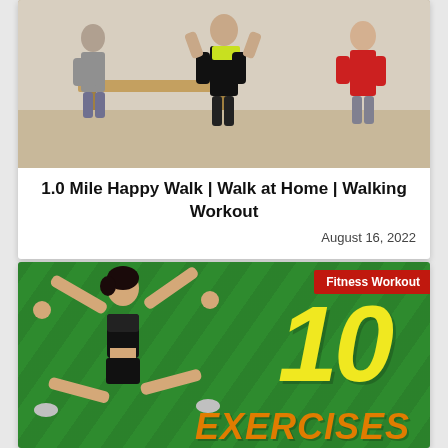[Figure (photo): Group aerobics/fitness class photo showing three women doing a workout exercise in a studio setting]
1.0 Mile Happy Walk | Walk at Home | Walking Workout
August 16, 2022
[Figure (illustration): Fitness workout thumbnail with green striped background, woman doing jumping-jack pose, large yellow '10' and orange 'EXERCISES' text, red 'Fitness Workout' badge]